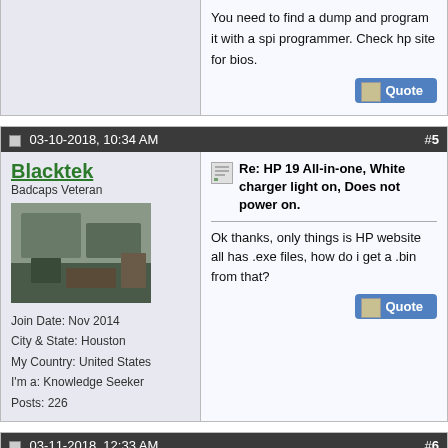You need to find a dump and program it with a spi programmer. Check hp site for bios.
03-10-2018, 10:34 AM  #5
Blacktek
Badcaps Veteran
Join Date: Nov 2014
City & State: Houston
My Country: United States
I'm a: Knowledge Seeker
Posts: 226
Re: HP 19 All-in-one, White charger light on, Does not power on.

Ok thanks, only things is HP website all has .exe files, how do i get a .bin from that?
03-11-2018, 12:33 AM  #6
mcplslg123
Badcaps Veteran
Join Date: Jun 2015
City & State: siliguri
Re: HP 19 All-in-one, White charger light on, Does not power on.

Quote: